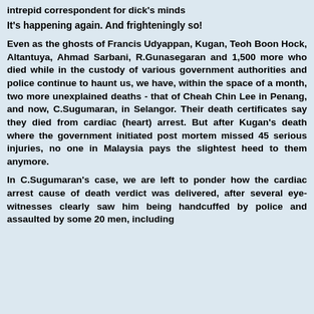intrepid correspondent for dick's minds
It's happening again. And frighteningly so!
Even as the ghosts of Francis Udyappan, Kugan, Teoh Boon Hock, Altantuya, Ahmad Sarbani, R.Gunasegaran and 1,500 more who died while in the custody of various government authorities and police continue to haunt us, we have, within the space of a month, two more unexplained deaths - that of Cheah Chin Lee in Penang, and now, C.Sugumaran, in Selangor. Their death certificates say they died from cardiac (heart) arrest. But after Kugan's death where the government initiated post mortem missed 45 serious injuries, no one in Malaysia pays the slightest heed to them anymore.
In C.Sugumaran's case, we are left to ponder how the cardiac arrest cause of death verdict was delivered, after several eye-witnesses clearly saw him being handcuffed by police and assaulted by some 20 men, including some men...